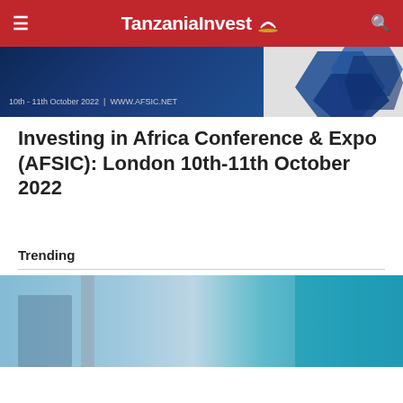TanzaniaInvest
[Figure (other): AFSIC conference banner showing blue geometric shapes with text '10th - 11th October 2022 | WWW.AFSIC.NET']
Investing in Africa Conference & Expo (AFSIC): London 10th-11th October 2022
Trending
[Figure (photo): Blurred exterior photo of a building with blue and teal glass facade]